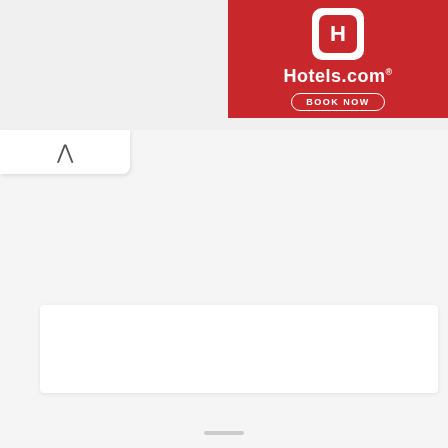[Figure (logo): Hotels.com advertisement banner with red background, Hotels.com logo icon (white H in rounded square), Hotels.com text in white, and a BOOK NOW button with white rounded border outline]
[Figure (screenshot): Browser interface with collapse/minimize tab showing upward arrow, a white content panel area, and a code editor snippet showing PHP code with line numbers 1-4, containing '<?php' on line 1, blank line 2, 'namespace App\Controllers;' on line 3, blank line 4]